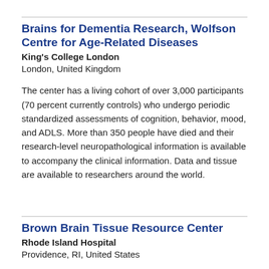Brains for Dementia Research, Wolfson Centre for Age-Related Diseases
King's College London
London, United Kingdom
The center has a living cohort of over 3,000 participants (70 percent currently controls) who undergo periodic standardized assessments of cognition, behavior, mood, and ADLS. More than 350 people have died and their research-level neuropathological information is available to accompany the clinical information. Data and tissue are available to researchers around the world.
Brown Brain Tissue Resource Center
Rhode Island Hospital
Providence, RI, United States